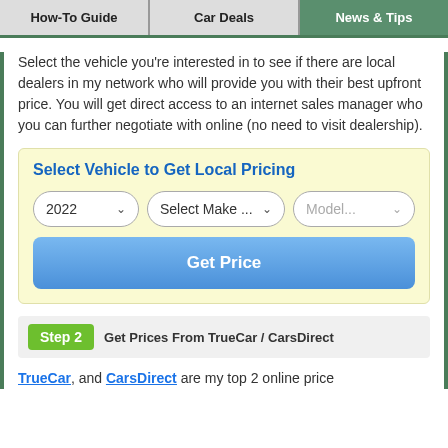How-To Guide | Car Deals | News & Tips
Select the vehicle you're interested in to see if there are local dealers in my network who will provide you with their best upfront price. You will get direct access to an internet sales manager who you can further negotiate with online (no need to visit dealership).
Select Vehicle to Get Local Pricing
2022 [dropdown] | Select Make ... [dropdown] | Model... [dropdown]
Get Price
Step 2  Get Prices From TrueCar / CarsDirect
TrueCar, and CarsDirect are my top 2 online price quote recommendations. They are vice local